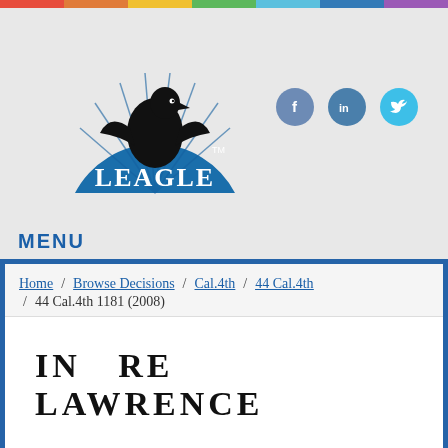[Figure (logo): Leagle logo: blue semicircle with eagle silhouette and LEAGLE text in white serif font with TM mark]
[Figure (infographic): Social media icons: Facebook (blue circle with f), LinkedIn (blue circle with in), Twitter (cyan circle with bird)]
MENU
Home / Browse Decisions / Cal.4th / 44 Cal.4th / 44 Cal.4th 1181 (2008)
IN RE LAWRENCE